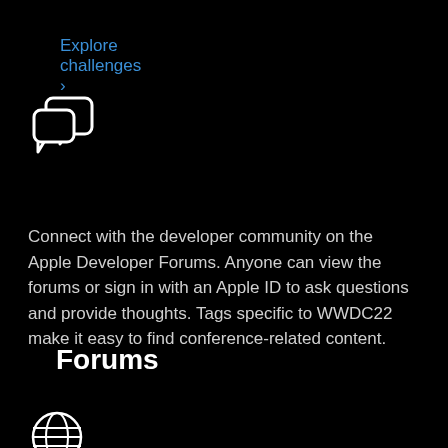Explore challenges ›
[Figure (illustration): Chat bubble icon — two overlapping speech/chat bubbles outlined in white on black background]
Forums
Connect with the developer community on the Apple Developer Forums. Anyone can view the forums or sign in with an Apple ID to ask questions and provide thoughts. Tags specific to WWDC22 make it easy to find conference-related content.
Get details on using the forums ›
[Figure (illustration): Globe/world icon outlined in white on black background]